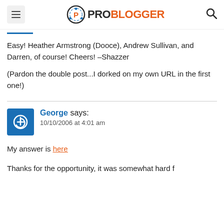ProBlogger
Easy! Heather Armstrong (Dooce), Andrew Sullivan, and Darren, of course! Cheers! –Shazzer
(Pardon the double post...I dorked on my own URL in the first one!)
George says: 10/10/2006 at 4:01 am
My answer is here
Thanks for the opportunity, it was somewhat hard f